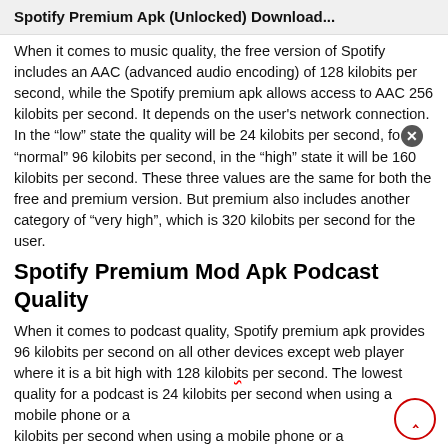Spotify Premium Apk (Unlocked) Download...
When it comes to music quality, the free version of Spotify includes an AAC (advanced audio encoding) of 128 kilobits per second, while the Spotify premium apk allows access to AAC 256 kilobits per second. It depends on the user's network connection. In the “low” state the quality will be 24 kilobits per second, for “normal” 96 kilobits per second, in the “high” state it will be 160 kilobits per second. These three values are the same for both the free and premium version. But premium also includes another category of “very high”, which is 320 kilobits per second for the user.
Spotify Premium Mod Apk Podcast Quality
When it comes to podcast quality, Spotify premium apk provides 96 kilobits per second on all other devices except web player where it is a bit high with 128 kilobits per second. The lowest quality for a podcast is 24 kilobits per second when using a mobile phone or a tablet for a bit high...